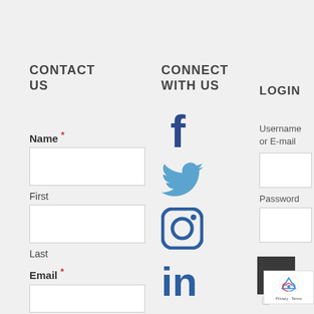CONTACT US
Name *
First
Last
Email *
CONNECT WITH US
[Figure (illustration): Social media icons: Facebook, Twitter, Instagram, LinkedIn]
LOGIN
Username or E-mail
Password
Remember
[Figure (screenshot): reCAPTCHA badge showing Google reCAPTCHA logo with Privacy and Terms text]